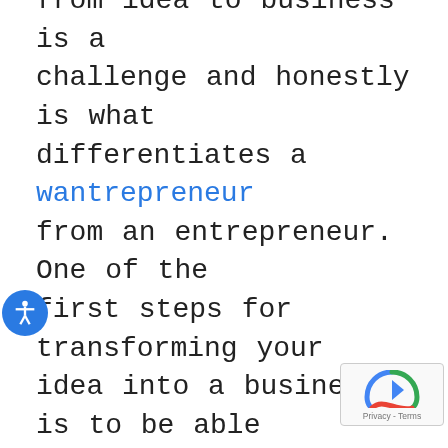from idea to business is a challenge and honestly is what differentiates a wantrepreneur from an entrepreneur. One of the first steps for transforming your idea into a business is to be able to articulate your business model. This is where the Lean Canvas comes into play. The Lean Canvas is derived from the Business Model Canvas. The Lean Canvas is a 1-page business plan template created by Ash Maurya that helps you deconstruct your idea into its